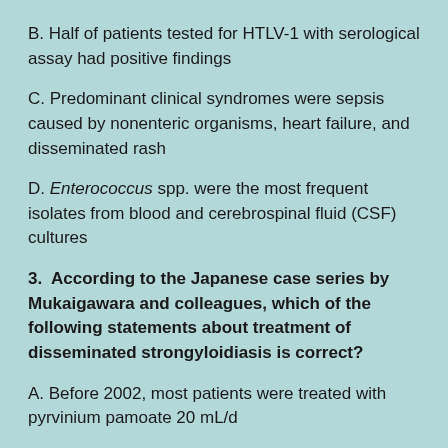B. Half of patients tested for HTLV-1 with serological assay had positive findings
C. Predominant clinical syndromes were sepsis caused by nonenteric organisms, heart failure, and disseminated rash
D. Enterococcus spp. were the most frequent isolates from blood and cerebrospinal fluid (CSF) cultures
3. According to the Japanese case series by Mukaigawara and colleagues, which of the following statements about treatment of disseminated strongyloidiasis is correct?
A. Before 2002, most patients were treated with pyrvinium pamoate 20 mL/d